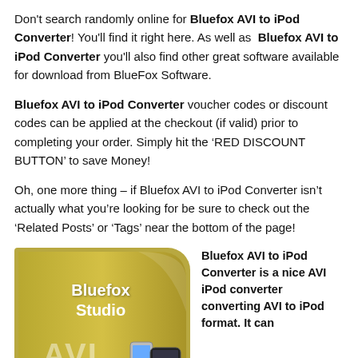Don't search randomly online for Bluefox AVI to iPod Converter! You'll find it right here. As well as Bluefox AVI to iPod Converter you'll also find other great software available for download from BlueFox Software.
Bluefox AVI to iPod Converter voucher codes or discount codes can be applied at the checkout (if valid) prior to completing your order. Simply hit the ‘RED DISCOUNT BUTTON’ to save Money!
Oh, one more thing – if Bluefox AVI to iPod Converter isn’t actually what you’re looking for be sure to check out the ‘Related Posts’ or ‘Tags’ near the bottom of the page!
[Figure (photo): Bluefox Studio AVI software product box with golden/yellow color and rounded top-right corner, showing 'Bluefox Studio' text and 'AVI' label, with small iPod device images at the bottom right.]
Bluefox AVI to iPod Converter is a nice AVI iPod converter converting AVI to iPod format. It can